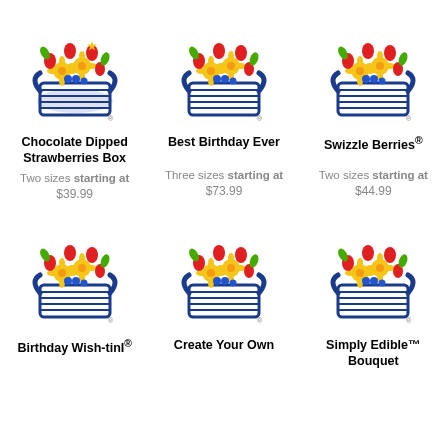[Figure (logo): Edible Arrangements fruit bouquet logo - basket with flowers and fruit, top row left]
Chocolate Dipped Strawberries Box
Two sizes starting at
$39.99
[Figure (logo): Edible Arrangements fruit bouquet logo - basket with flowers and fruit, top row center]
Best Birthday Ever
Three sizes starting at
$73.99
[Figure (logo): Edible Arrangements fruit bouquet logo - basket with flowers and fruit, top row right]
Swizzle Berries®
Two sizes starting at
$44.99
[Figure (logo): Edible Arrangements fruit bouquet logo - basket with flowers and fruit, bottom row left]
Birthday Wish-tinI®
[Figure (logo): Edible Arrangements fruit bouquet logo - basket with flowers and fruit, bottom row center]
Create Your Own
[Figure (logo): Edible Arrangements fruit bouquet logo - basket with flowers and fruit, bottom row right]
Simply Edible™ Bouquet